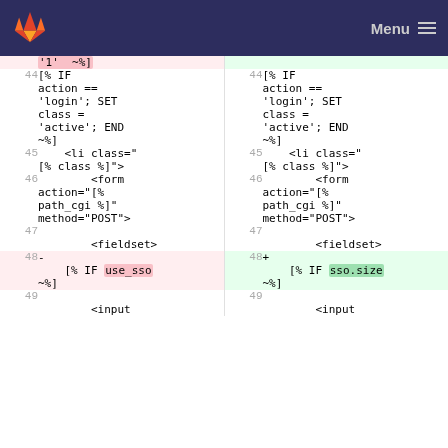GitLab diff view — Menu
| line-left | code-left | line-right | code-right |
| --- | --- | --- | --- |
|  | '1' ~%] |  |  |
| 44 | [% IF action == 'login'; SET class = 'active'; END ~%] | 44 | [% IF action == 'login'; SET class = 'active'; END ~%] |
| 45 |     <li class="[% class %]"> | 45 |     <li class="[% class %]"> |
| 46 |         <form action="[% path_cgi %]" method="POST"> | 46 |         <form action="[% path_cgi %]" method="POST"> |
| 47 |  | 47 |  |
|  |         <fieldset> |  |         <fieldset> |
| 48 | -   [% IF use_sso ~%] | 48 | +   [% IF sso.size ~%] |
| 49 |  | 49 |  |